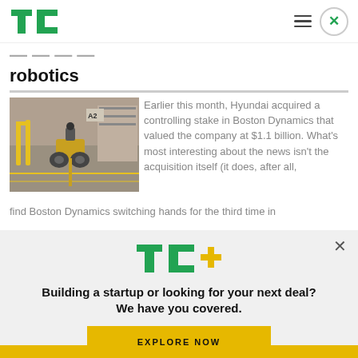TechCrunch logo, hamburger menu, close button
robotics
[Figure (photo): A wheeled robot (Boston Dynamics-style) in a warehouse facility with yellow safety barriers and industrial shelving]
Earlier this month, Hyundai acquired a controlling stake in Boston Dynamics that valued the company at $1.1 billion. What's most interesting about the news isn't the acquisition itself (it does, after all, find Boston Dynamics switching hands for the third time in
[Figure (logo): TC+ logo — TechCrunch plus sign in green and yellow]
Building a startup or looking for your next deal? We have you covered.
EXPLORE NOW